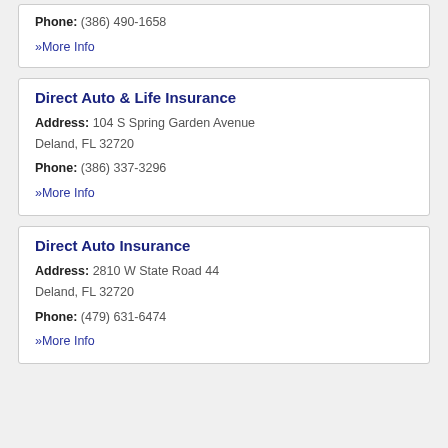Phone: (386) 490-1658
» More Info
Direct Auto & Life Insurance
Address: 104 S Spring Garden Avenue Deland, FL 32720
Phone: (386) 337-3296
» More Info
Direct Auto Insurance
Address: 2810 W State Road 44 Deland, FL 32720
Phone: (479) 631-6474
» More Info